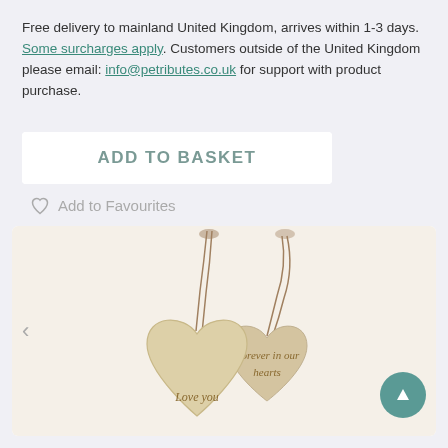Free delivery to mainland United Kingdom, arrives within 1-3 days. Some surcharges apply. Customers outside of the United Kingdom please email: info@petributes.co.uk for support with product purchase.
ADD TO BASKET
Add to Favourites
[Figure (photo): Two wooden heart-shaped tags with twine string. One heart reads 'Forever in our hearts' and the other partially visible reads 'Love you'. Photographed on a white background.]